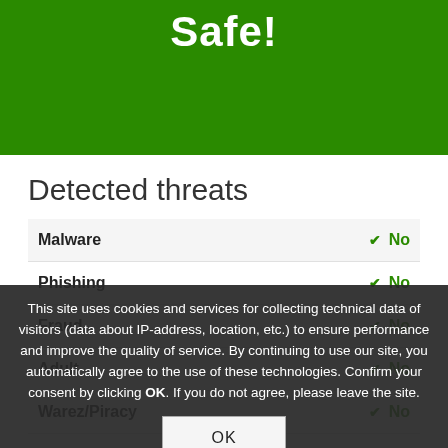Safe!
Detected threats
| Threat | Status |
| --- | --- |
| Malware | ✔ No |
| Phishing | ✔ No |
| Fraud | ✔ No |
| Adult | ✔ No |
| Warez/Piracy | ✔ No |
This site uses cookies and services for collecting technical data of visitors (data about IP-address, location, etc.) to ensure performance and improve the quality of service. By continuing to use our site, you automatically agree to the use of these technologies. Confirm your consent by clicking OK. If you do not agree, please leave the site.